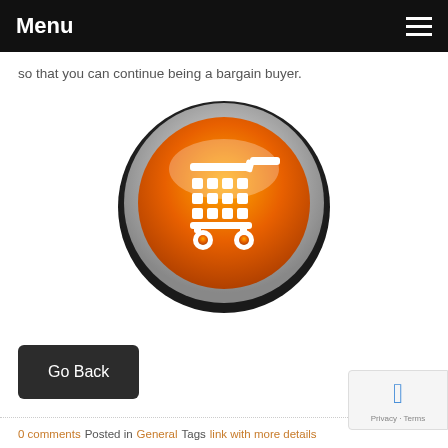Menu
so that you can continue being a bargain buyer.
[Figure (illustration): Orange glossy shopping cart icon on a circular metallic button background]
Go Back
0 comments   Posted in General   Tags link with more details